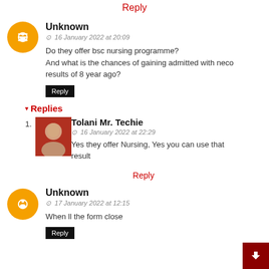Reply
Unknown
16 January 2022 at 20:09
Do they offer bsc nursing programme?
And what is the chances of gaining admitted with neco results of 8 year ago?
Reply
Replies
Tolani Mr. Techie
16 January 2022 at 22:29
Yes they offer Nursing, Yes you can use that result
Reply
Unknown
17 January 2022 at 12:15
When ll the form close
Reply